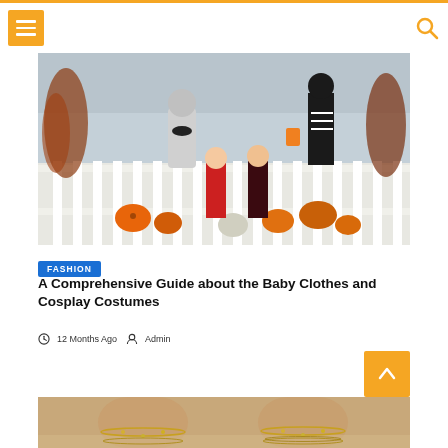[Figure (photo): Children in Halloween costumes sitting on porch steps with pumpkins and fall decorations]
FASHION
A Comprehensive Guide about the Baby Clothes and Cosplay Costumes
12 Months Ago  Admin
[Figure (photo): Close-up of ankles wearing decorative anklet jewelry]